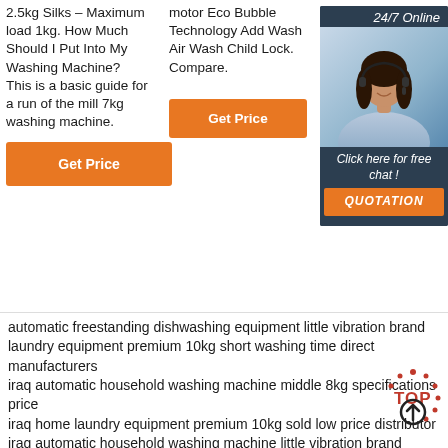2.5kg Silks – Maximum load 1kg. How Much Should I Put Into My Washing Machine? This is a basic guide for a run of the mill 7kg washing machine.
Get Price
motor Eco Bubble Technology Add Wash Air Wash Child Lock. Compare.
Get Price
5 stars 125 4 offers from ₹13,400.00
Get Price
[Figure (photo): Chat widget showing a woman with headset, '24/7 Online' text, 'Click here for free chat!' text, and a QUOTATION button]
automatic freestanding dishwashing equipment little vibration brand
laundry equipment premium 10kg short washing time direct manufacturers
iraq automatic household washing machine middle 8kg specifications price
iraq home laundry equipment premium 10kg sold low price distributor
iraq automatic household washing machine little vibration brand